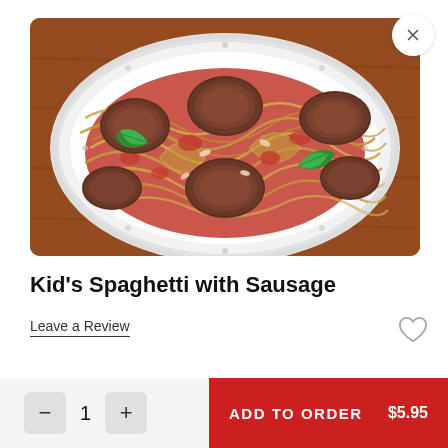[Figure (photo): A plate of spaghetti with sliced sausage pieces and fresh basil leaves garnish, served in a white plate on a wooden surface]
Kid's Spaghetti with Sausage
Leave a Review
ADD TO ORDER  $5.95
1